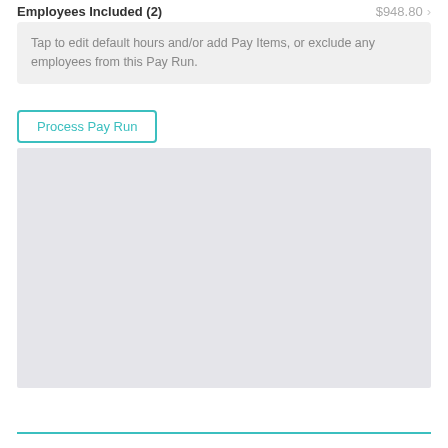Employees Included (2)   $948.80
Tap to edit default hours and/or add Pay Items, or exclude any employees from this Pay Run.
Process Pay Run
[Figure (screenshot): Gray placeholder panel representing a blank/loading content area]